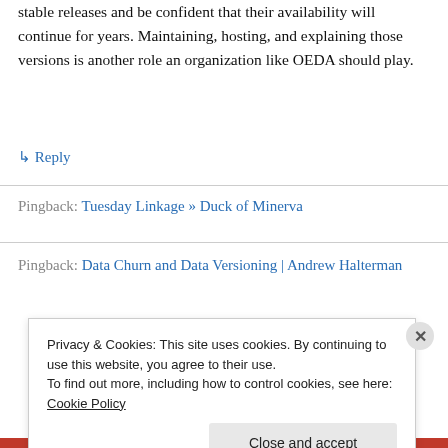stable releases and be confident that their availability will continue for years. Maintaining, hosting, and explaining those versions is another role an organization like OEDA should play.
↳ Reply
Pingback: Tuesday Linkage » Duck of Minerva
Pingback: Data Churn and Data Versioning | Andrew Halterman
Privacy & Cookies: This site uses cookies. By continuing to use this website, you agree to their use.
To find out more, including how to control cookies, see here: Cookie Policy
Close and accept